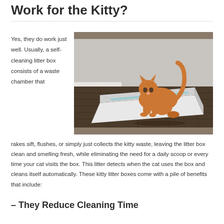Work for the Kitty?
Yes, they do work just well. Usually, a self-cleaning litter box consists of a waste chamber that rakes sift, flushes, or simply just collects the kitty waste, leaving the litter box clean and smelling fresh, while eliminating the need for a daily scoop or every time your cat visits the box. This litter detects when the cat uses the box and cleans itself automatically. These kitty litter boxes come with a pile of benefits that include:
[Figure (photo): An orange tabby cat stepping out of a white self-cleaning litter box on a dark hardwood floor near a white baseboard.]
– They Reduce Cleaning Time